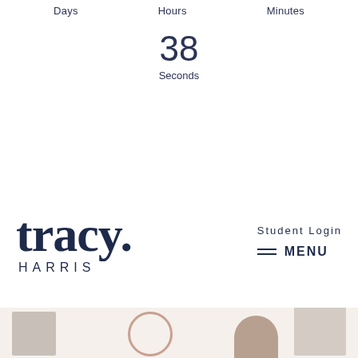Days
Hours
Minutes
38
Seconds
[Figure (logo): Tracy Harris logo with large serif 'tracy.' text and spaced-letter 'HARRIS' below]
Student Login
MENU
[Figure (photo): Bottom section with warm beige background showing partial photos of people]